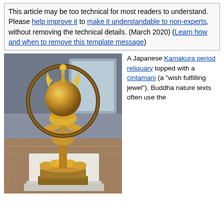This article may be too technical for most readers to understand. Please help improve it to make it understandable to non-experts, without removing the technical details. (March 2020) (Learn how and when to remove this template message)
[Figure (photo): A golden Japanese Kamakura period reliquary topped with a cintamani (wish-fulfilling jewel), displayed on a white pedestal in a museum setting. The ornate gold object features a spherical top with flames, a circular halo, lotus base, and vajra-like stem.]
A Japanese Kamakura period reliquary topped with a cintamani (a "wish fulfilling jewel"). Buddha nature texts often use the